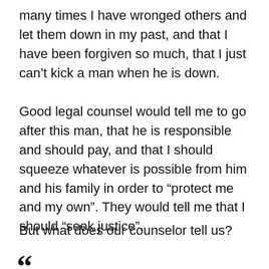many times I have wronged others and let them down in my past, and that I have been forgiven so much, that I just can't kick a man when he is down.
Good legal counsel would tell me to go after this man, that he is responsible and should pay, and that I should squeeze whatever is possible from him and his family in order to “protect me and my own”. They would tell me that I should “seek justice”.
But what does our counselor tell us?